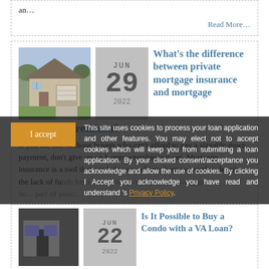an…
Read More…
[Figure (photo): Photo of a suburban house with two-car garage and driveway]
JUN 29 2022
What's the difference between private mortgage insurance and mortgage insurance premium?
If you are one of those buyers who can't afford to pay a sizeable down payment, don't give up on homeownership just yet. Mortgage insurance is a tool that can help you achieve homeownership despite the lack of funds for a down. When you pay for mortgage in… part of your…
This site uses cookies to process your loan application and other features. You may elect not to accept cookies which will keep you from submitting a loan application. By your clicked consent/acceptance you acknowledge and allow the use of cookies. By clicking I Accept you acknowledge you have read and understand 's Privacy Policy.
Is It Possible to Buy a Condo with a VA Loan?